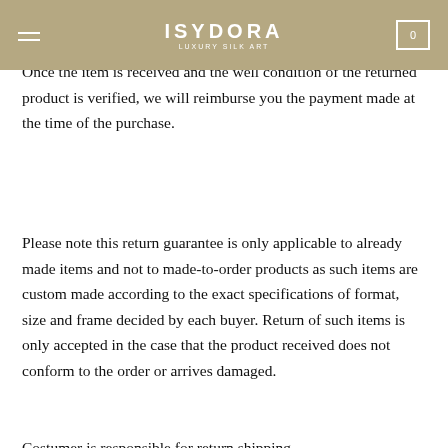ISYDORA LUXURY SILK ART
must be in perfect condition and in its original packaging. The carrier may refuse a collection if these requirements are not met. Once the item is received and the well condition of the returned product is verified, we will reimburse you the payment made at the time of the purchase.
Please note this return guarantee is only applicable to already made items and not to made-to-order products as such items are custom made according to the exact specifications of format, size and frame decided by each buyer. Return of such items is only accepted in the case that the product received does not conform to the order or arrives damaged.
Costumer is responsible for return shipping